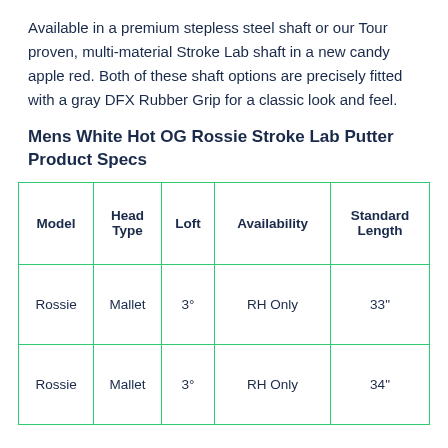Available in a premium stepless steel shaft or our Tour proven, multi-material Stroke Lab shaft in a new candy apple red. Both of these shaft options are precisely fitted with a gray DFX Rubber Grip for a classic look and feel.
Mens White Hot OG Rossie Stroke Lab Putter Product Specs
| Model | Head Type | Loft | Availability | Standard Length |
| --- | --- | --- | --- | --- |
| Rossie | Mallet | 3° | RH Only | 33" |
| Rossie | Mallet | 3° | RH Only | 34" |